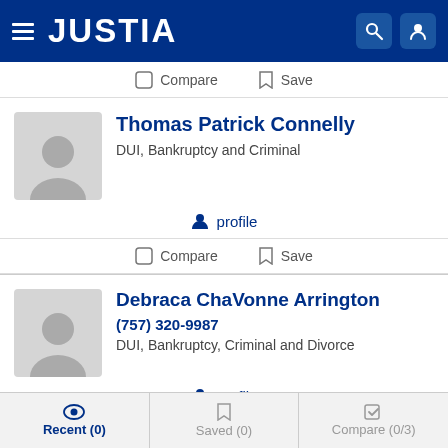[Figure (screenshot): Justia website header with logo, hamburger menu, search and user icons on dark blue background]
Compare  Save
Thomas Patrick Connelly
DUI, Bankruptcy and Criminal
profile
Compare  Save
Debraca ChaVonne Arrington
(757) 320-9987
DUI, Bankruptcy, Criminal and Divorce
profile
Recent (0)  Saved (0)  Compare (0/3)